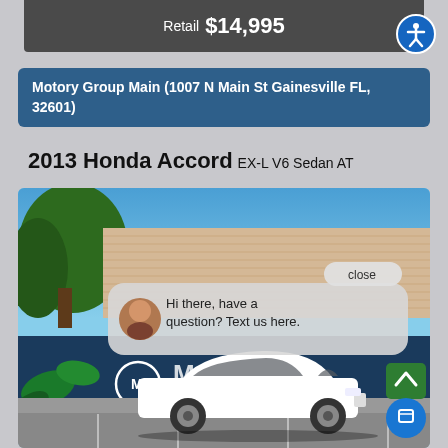Retail $14,995
Motory Group Main (1007 N Main St Gainesville FL, 32601)
2013 Honda Accord EX-L V6 Sedan AT
[Figure (photo): White 2013 Honda Accord sedan parked in front of Motory Group dealership with colorful tropical mural, wood plank building visible, and a chat overlay popup saying 'Hi there, have a question? Text us here.']